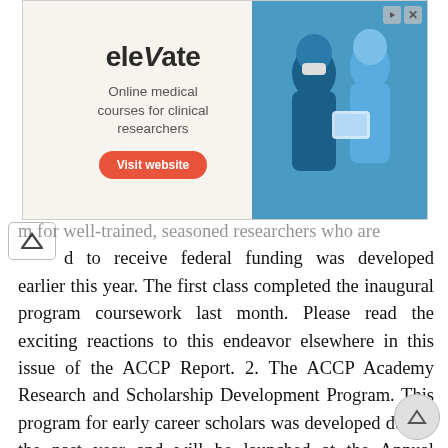[Figure (infographic): Advertisement banner for 'elevate' — Online medical courses for clinical researchers. Shows a 'Visit website' button and an image of medical professionals. Navigation controls top right.]
m for well-trained, seasoned researchers who are [pa]d to receive federal funding was developed earlier this year. The first class completed the inaugural program coursework last month. Please read the exciting reactions to this endeavor elsewhere in this issue of the ACCP Report. 2. The ACCP Academy Research and Scholarship Development Program. This program for early career scholars was developed during the past year and will be launched at the Annual Meeting this October. The College hopes it will reach a large number of members interested in sharpening their ability to perform research as a component of practice. 3. Practice-Based Research Network (PBRN). ACCP is consulting experts both within and outside the organization, and we plan to enroll clinical pharmacists as investigators within the next year. This will allow members to participate in large-scale projects of potentially high impact to both patients and practitioners. Our hope is that this PBRN enrollment will engage a larger